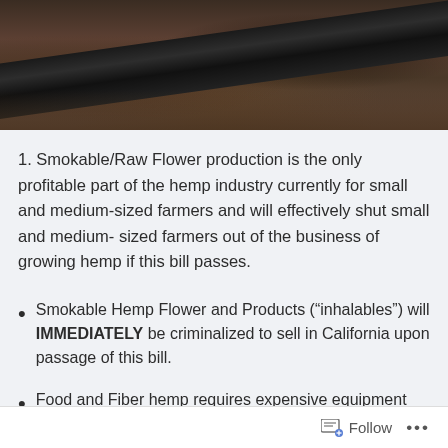[Figure (photo): Close-up photo of dark metal pipe or tool in soil/dirt, earthy tones of brown and black]
1. Smokable/Raw Flower production is the only profitable part of the hemp industry currently for small and medium-sized farmers and will effectively shut small and medium- sized farmers out of the business of growing hemp if this bill passes.
Smokable Hemp Flower and Products (“inhalables”) will IMMEDIATELY be criminalized to sell in California upon passage of this bill.
Food and Fiber hemp requires expensive equipment and specialized processing centers that have not
Follow ...